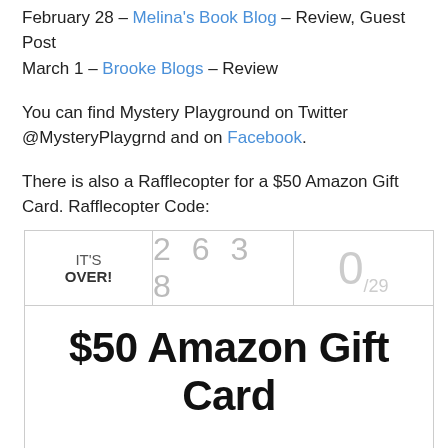February 28 – Melina's Book Blog – Review, Guest Post
March 1 – Brooke Blogs – Review
You can find Mystery Playground on Twitter @MysteryPlaygrnd and on Facebook.
There is also a Rafflecopter for a $50 Amazon Gift Card. Rafflecopter Code:
[Figure (infographic): Rafflecopter widget showing IT'S OVER!, entry code 2638, score 0/29, prize $50 Amazon Gift Card, and 'And the winner is...' text with decorative lines.]